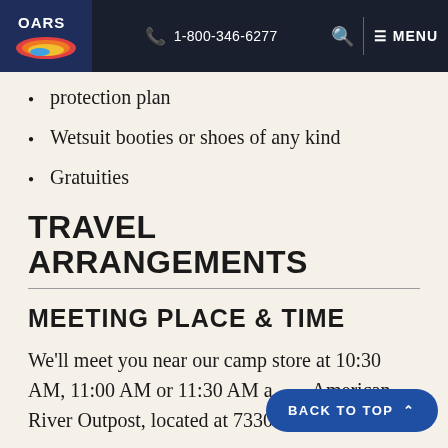OARS | 1-800-346-6277 | MENU
protection plan
Wetsuit booties or shoes of any kind
Gratuities
TRAVEL ARRANGEMENTS
MEETING PLACE & TIME
We'll meet you near our camp store at 10:30 AM, 11:00 AM or 11:30 AM a... American River Outpost, located at 7330 River